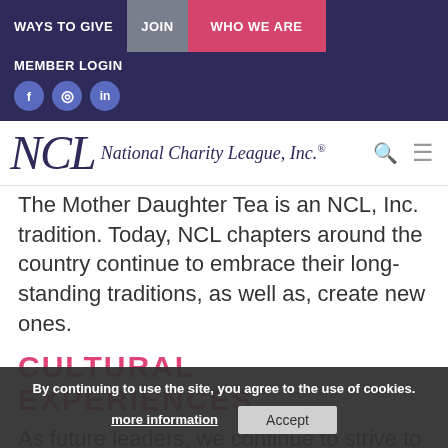WAYS TO GIVE  JOIN  WHO WE ARE  MEMBER LOGIN
[Figure (logo): National Charity League, Inc. logo with NCL monogram in italic script and search/menu icons]
The Mother Daughter Tea is an NCL, Inc. tradition. Today, NCL chapters around the country continue to embrace their long-standing traditions, as well as, create new ones.
CULTURAL EXPERIENCES
As future leaders, we continue to strive to build stronger ties with our communities and the individuals within them. It is through this
By continuing to use the site, you agree to the use of cookies. more information  Accept